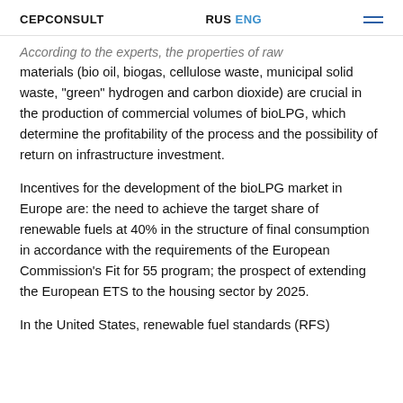CEPCONSULT   RUS ENG
According to the experts, the properties of raw materials (bio oil, biogas, cellulose waste, municipal solid waste, "green" hydrogen and carbon dioxide) are crucial in the production of commercial volumes of bioLPG, which determine the profitability of the process and the possibility of return on infrastructure investment.
Incentives for the development of the bioLPG market in Europe are: the need to achieve the target share of renewable fuels at 40% in the structure of final consumption in accordance with the requirements of the European Commission's Fit for 55 program; the prospect of extending the European ETS to the housing sector by 2025.
In the United States, renewable fuel standards (RFS)